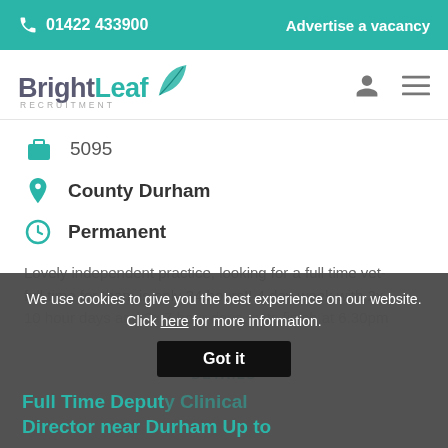01422 433900   Advertise a vacancy
[Figure (logo): BrightLeaf Recruitment logo with teal leaf icon]
5095
County Durham
Permanent
Lovely independent practice, looking for a full time vet- full time for them is only 34 hours!! 4 day week with 2x 10 hour days and 2x 7 hour days, vets finish at 6.30pm
FULL DETAILS
We use cookies to give you the best experience on our website. Click here for more information.
Got it
Full Time Deputy Clinical Director near Durham Up to